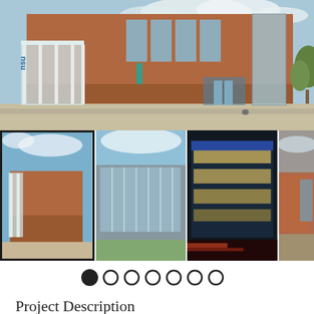[Figure (photo): Main exterior photo of a modern brick university building (likely PSU/NDSU) with glass entrance canopy, trees, and open plaza in daylight.]
[Figure (photo): Thumbnail 1 (selected/active): Exterior view of the same brick building from a wide angle with blue sky.]
[Figure (photo): Thumbnail 2: Exterior of a modern building with large glass curtain wall facade and green lawn.]
[Figure (photo): Thumbnail 3: Night exterior view of the building with interior lights glowing through glass walls.]
[Figure (photo): Thumbnail 4: Partial exterior view of corner of the brick building.]
Project Description
The team of ZBA/BWBR collaborated on this 120,000 SF 3-story building that includes state of the art